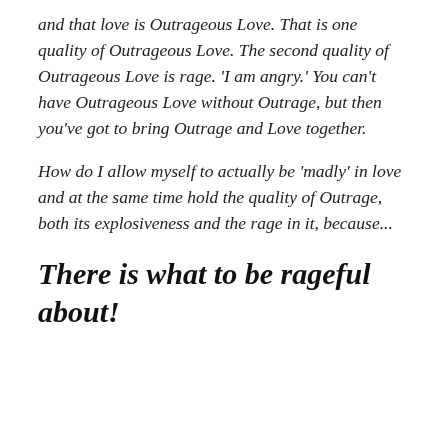and that love is Outrageous Love. That is one quality of Outrageous Love. The second quality of Outrageous Love is rage. 'I am angry.' You can't have Outrageous Love without Outrage, but then you've got to bring Outrage and Love together.
How do I allow myself to actually be 'madly' in love and at the same time hold the quality of Outrage, both its explosiveness and the rage in it, because...
There is what to be rageful about!